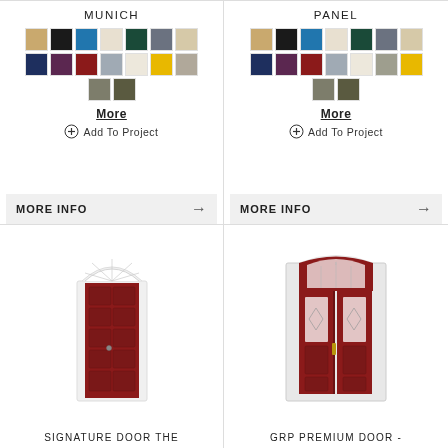MUNICH
[Figure (infographic): Color swatches grid for Munich door: tan, black, blue, cream, dark green, grey, beige (row 1); navy, purple, red, light grey, off-white, yellow, grey (row 2); two olive/khaki tones (row 3)]
More
+ Add To Project
MORE INFO →
PANEL
[Figure (infographic): Color swatches grid for Panel door: tan, black, blue, cream, dark green, grey, beige (row 1); navy, purple, red, light grey, off-white, grey, yellow (row 2); two olive/khaki tones (row 3)]
More
+ Add To Project
MORE INFO →
[Figure (photo): Red arched-top composite door with white frame - Signature Door The]
SIGNATURE DOOR THE
[Figure (photo): Red GRP premium double door with decorative glass panels and white frame]
GRP PREMIUM DOOR -